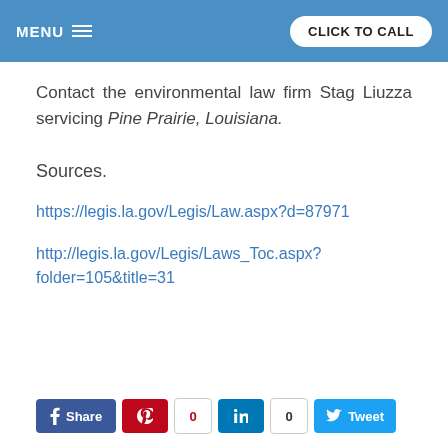MENU | CLICK TO CALL
Contact the environmental law firm Stag Liuzza servicing Pine Prairie, Louisiana.
Sources.
https://legis.la.gov/Legis/Law.aspx?d=87971
http://legis.la.gov/Legis/Laws_Toc.aspx?folder=105&title=31